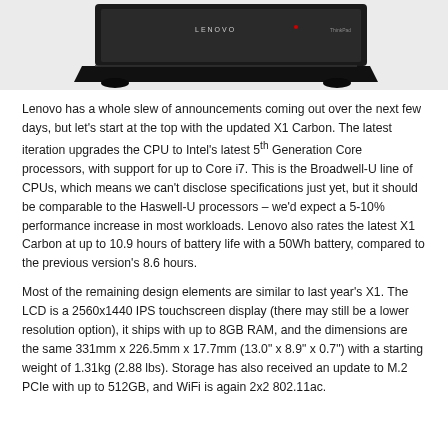[Figure (photo): Photo of a Lenovo laptop (ThinkPad X1 Carbon) viewed from above at an angle, showing the black lid with Lenovo branding, on a light grey background.]
Lenovo has a whole slew of announcements coming out over the next few days, but let’s start at the top with the updated X1 Carbon. The latest iteration upgrades the CPU to Intel’s latest 5th Generation Core processors, with support for up to Core i7. This is the Broadwell-U line of CPUs, which means we can’t disclose specifications just yet, but it should be comparable to the Haswell-U processors – we’d expect a 5-10% performance increase in most workloads. Lenovo also rates the latest X1 Carbon at up to 10.9 hours of battery life with a 50Wh battery, compared to the previous version’s 8.6 hours.
Most of the remaining design elements are similar to last year’s X1. The LCD is a 2560x1440 IPS touchscreen display (there may still be a lower resolution option), it ships with up to 8GB RAM, and the dimensions are the same 331mm x 226.5mm x 17.7mm (13.0” x 8.9” x 0.7”) with a starting weight of 1.31kg (2.88 lbs). Storage has also received an update to M.2 PCIe with up to 512GB, and WiFi is again 2x2 802.11ac.